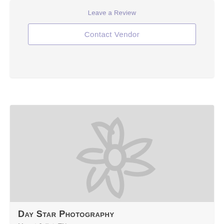Leave a Review
Contact Vendor
[Figure (illustration): Placeholder image with a light gray flower/daisy watermark illustration on a gradient gray background]
Day Star Photography
Mount Juliet, TN